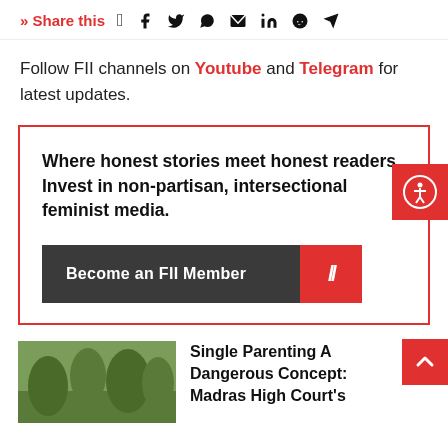» Share this [social icons: Facebook, Twitter, WhatsApp, Email, LinkedIn, Reddit, Telegram]
Follow FII channels on Youtube and Telegram for latest updates.
Where honest stories meet honest readers. Invest in non-partisan, intersectional feminist media.
Become an FII Member
Single Parenting A Dangerous Concept: Madras High Court's